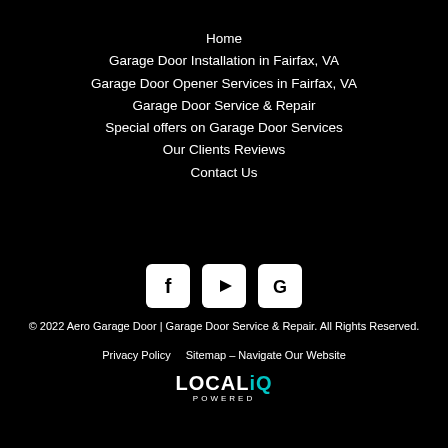Home
Garage Door Installation in Fairfax, VA
Garage Door Opener Services in Fairfax, VA
Garage Door Service & Repair
Special offers on Garage Door Services
Our Clients Reviews
Contact Us
[Figure (logo): Social media icons: Facebook (f), YouTube (play button), Google (G) — white icons on white rounded-rectangle backgrounds]
© 2022 Aero Garage Door | Garage Door Service & Repair. All Rights Reserved.
Privacy Policy    Sitemap – Navigate Our Website
[Figure (logo): LOCALiQ POWERED logo — white text with teal 'iQ' letters, 'POWERED' in small spaced capitals below]